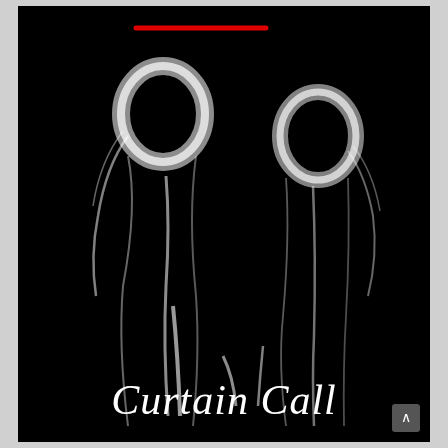[Figure (photo): Dark/black artistic photograph of two people silhouetted against a black background, with only the outlines and hair edges faintly illuminated in white. A red horizontal line appears near the top of the image. The word 'Curtain Call' is written in white italic script at the bottom.]
Curtain Call